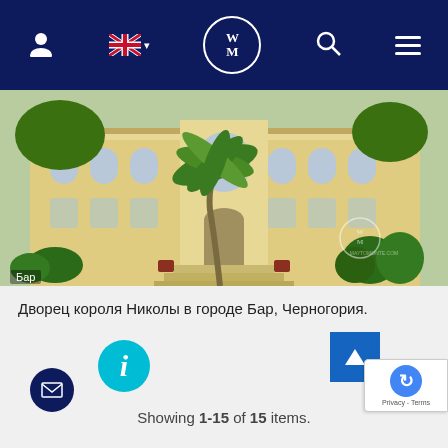Navigation bar with user icon, UK flag, WM logo, search icon, menu
[Figure (photo): Exterior photo of King Nikola's Palace in Bar, Montenegro — a yellow neoclassical building with arched windows, palm tree in foreground, watermark MAYTOMONTE.COM in lower right corner]
Бар
Дворец короля Николы в городе Бар, Черногория.
Showing 1-15 of 15 items.
Privacy - Terms